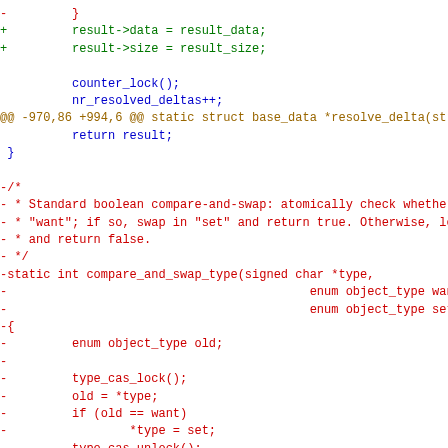[Figure (screenshot): A code diff snippet showing additions (green, prefixed with +), context lines (blue, no prefix), a diff hunk header (gold, @@ ... @@), and removed lines (red, prefixed with -). The diff shows changes to C code including result->data and result->size assignments, counter_lock and nr_resolved_deltas calls, and the removal of a compare_and_swap_type function.]